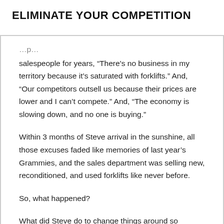ELIMINATE YOUR COMPETITION
salespeople for years, “There’s no business in my territory because it’s saturated with forklifts.” And, “Our competitors outsell us because their prices are lower and I can’t compete.” And, “The economy is slowing down, and no one is buying.”
Within 3 months of Steve arrival in the sunshine, all those excuses faded like memories of last year’s Grammies, and the sales department was selling new, reconditioned, and used forklifts like never before.
So, what happened?
What did Steve do to change things around so